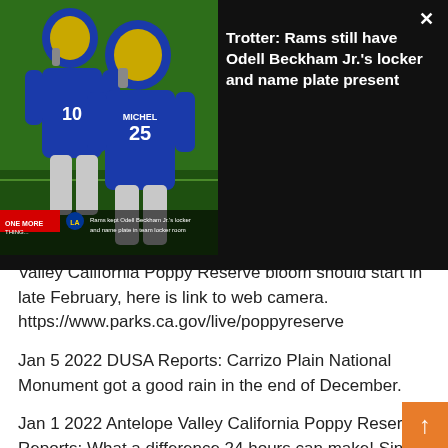[Figure (screenshot): Video thumbnail showing two NFL players in blue LA Rams jerseys (one with 'MICHEL' and number 25), on a green field background, with lower-third text overlay reading 'Rams kept Odell Beckham Jr.'s locker and name plate in team locker room']
Trotter: Rams still have Odell Beckham Jr.'s locker and name plate present
Valley California Poppy Reserve bloom should start in late February, here is link to web camera. https://www.parks.ca.gov/live/poppyreserve
Jan 5 2022 DUSA Reports: Carrizo Plain National Monument got a good rain in the end of December.
Jan 1 2022 Antelope Valley California Poppy Reserve Reports: What a difference 24 hours can make! Since Wednesday 12/29 the Poppy Reserve has received almost 2 inches of rain! Season total is now approaching 6 inches! Very good news!